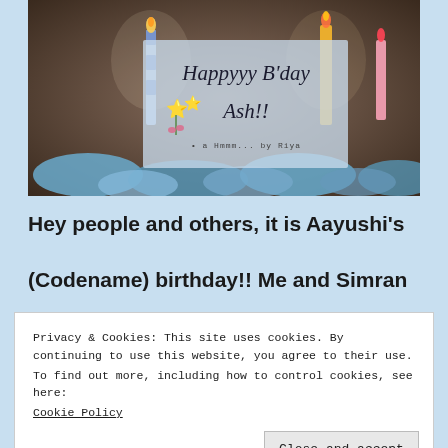[Figure (photo): Birthday cupcakes with lit candles and blue frosting, dark blurred background]
Happyyy B'day Ash!! • a Hmmm... by Riya
Hey people and others, it is Aayushi's
(Codename) birthday!! Me and Simran being t
Privacy & Cookies: This site uses cookies. By continuing to use this website, you agree to their use. To find out more, including how to control cookies, see here: Cookie Policy
Close and accept
we wish you a happy birthday